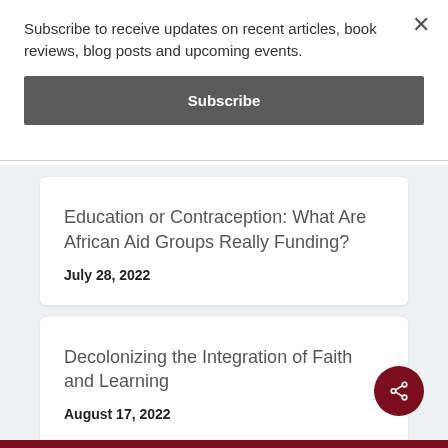Subscribe to receive updates on recent articles, book reviews, blog posts and upcoming events.
Subscribe
Education or Contraception: What Are African Aid Groups Really Funding?
July 28, 2022
Decolonizing the Integration of Faith and Learning
August 17, 2022